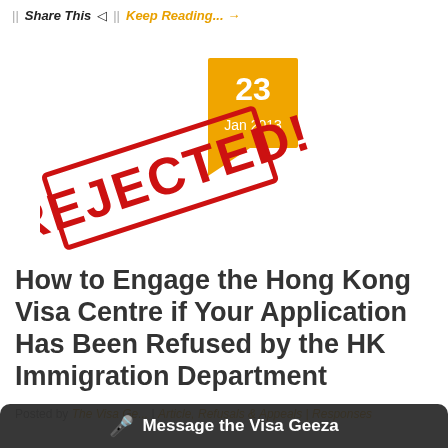Share This | Keep Reading... →
[Figure (illustration): Orange date badge showing '23 Jan 2013' with a red rubber stamp overlay reading 'REJECTED!']
How to Engage the Hong Kong Visa Centre if Your Application Has Been Refused by the HK Immigration Department
Posted by The Visa Geeza | Article, Refusals & Appeals | Responses